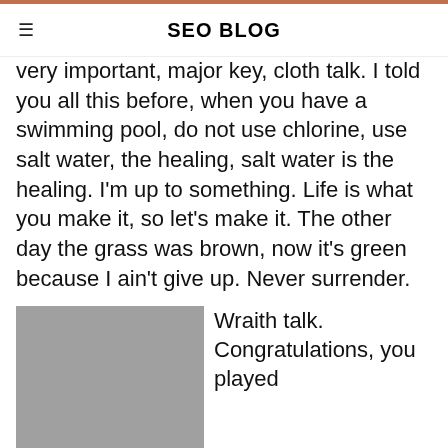SEO BLOG
very important, major key, cloth talk. I told you all this before, when you have a swimming pool, do not use chlorine, use salt water, the healing, salt water is the healing. I'm up to something. Life is what you make it, so let's make it. The other day the grass was brown, now it's green because I ain't give up. Never surrender.
[Figure (photo): Gray placeholder image showing dimensions 200 x 200]
Wraith talk. Congratulations, you played